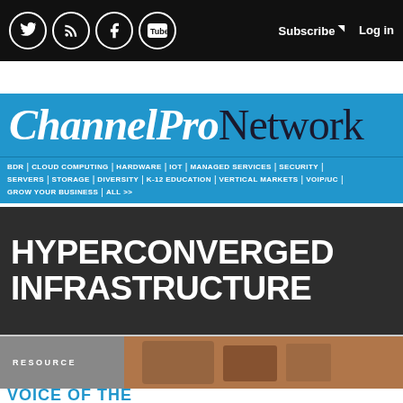Social icons: Twitter, RSS, Facebook, YouTube | Subscribe | Log in
[Figure (logo): ChannelPro Network logo on blue background]
BDR | CLOUD COMPUTING | HARDWARE | IOT | MANAGED SERVICES | SECURITY | SERVERS | STORAGE | DIVERSITY | K-12 EDUCATION | VERTICAL MARKETS | VOIP/UC | GROW YOUR BUSINESS | ALL >>
HYPERCONVERGED INFRASTRUCTURE
RESOURCE
VOICE OF THE